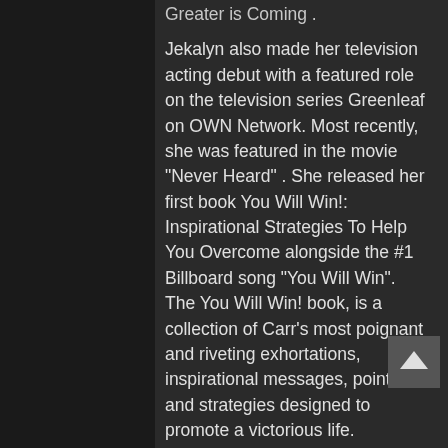Greater is Coming .
Jekalyn also made her television acting debut with a featured role on the television series Greenleaf on OWN Network. Most recently, she was featured in the movie “Never Heard” . She released her first book You Will Win!: Inspirational Strategies To Help You Overcome alongside the #1 Billboard song “You Will Win”. The You Will Win! book, is a collection of Carr’s most poignant and riveting exhortations, inspirational messages, pointers and strategies designed to promote a victorious life.
Her burgeoning national acclaim was evinced when she received the distinct honor of being named a POWER 100 by Ebony Magazine as one of the most influential people in the world. She was on the same list as